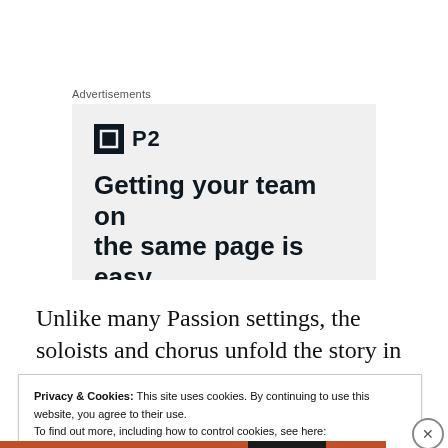Advertisements
[Figure (screenshot): Advertisement banner for P2 product with dark square logo icon and text 'Getting your team on the same page is easy']
Unlike many Passion settings, the soloists and chorus unfold the story in a series of four parts,
Privacy & Cookies: This site uses cookies. By continuing to use this website, you agree to their use.
To find out more, including how to control cookies, see here:
Cookie Policy
Close and accept